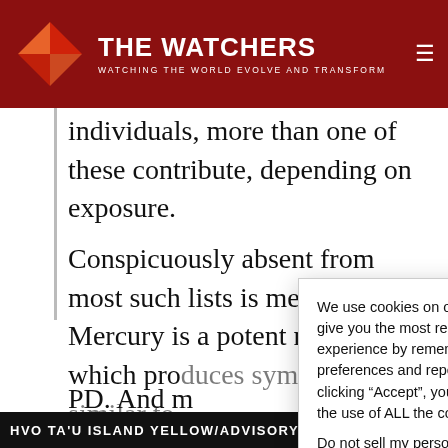THE WATCHERS — WATCHING THE WORLD EVOLVE AND TRANSFORM
individuals, more than one of these contribute, depending on exposure.
Conspicuously absent from most such lists is mercury. Mercury is a potent neuropoison which produces symptoms very similar to PD. And m[ercury is present in] around a f[ew hundred million] teeth.
The amou[nt of mercury released from] amalgam i[s enough to affect] all their he[alth...]
We use cookies on our website to give you the most relevant experience by remembering your preferences and repeat visits. By clicking “Accept”, you consent to the use of ALL the cookies.
Do not sell my personal information.
HVO TA'U ISLAND YELLOW/ADVISORY - TA'Ū ISLAND EARTHQ...